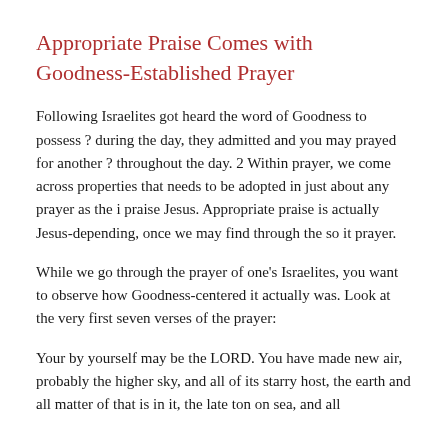Appropriate Praise Comes with Goodness-Established Prayer
Following Israelites got heard the word of Goodness to possess ? during the day, they admitted and you may prayed for another ? throughout the day. 2 Within prayer, we come across properties that needs to be adopted in just about any prayer as the i praise Jesus. Appropriate praise is actually Jesus-depending, once we may find through the so it prayer.
While we go through the prayer of one's Israelites, you want to observe how Goodness-centered it actually was. Look at the very first seven verses of the prayer:
Your by yourself may be the LORD. You have made new air, probably the higher sky, and all of its starry host, the earth and all matter of that is in it, the late ton on sea, and all